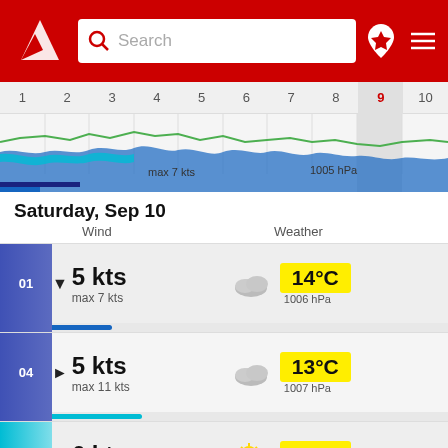[Figure (screenshot): App header with red background, logo, search bar, pin icon and menu icon]
[Figure (line-chart): Wind/wave chart strip showing days 1-10 with day 9 highlighted, annotations: max 7 kts, 1005 hPa]
Saturday, Sep 10
Wind    Weather
| Time | Wind Speed | Max Wind | Weather | Temperature | Pressure |
| --- | --- | --- | --- | --- | --- |
| 01 | 5 kts | max 7 kts | cloudy | 14°C | 1006 hPa |
| 04 | 5 kts | max 11 kts | cloudy | 13°C | 1007 hPa |
| 07 | 6 kts | max 15 kts | partly sunny | 12°C | 1009 hPa |
| 10 | 12 kts |  | partly sunny | 15°C |  |